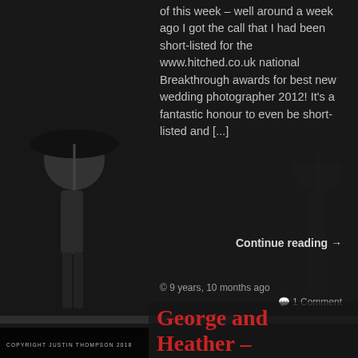[Figure (photo): Grayscale background photo of a woman holding an umbrella, split across left and right sides of the page]
of this week – well around a week ago I got the call that I had been short-listed for the www.hitched.co.uk national Breakthrough awards for best new wedding photographer 2012! It's a fantastic honour to even be short-listed and [...]
Continue reading →
© 9 years, 10 months ago
💬 1 Comment
[Figure (photo): Gray separator region below the blog post content]
George and Heather –
COPYRIGHT JUSTIN THOMPSON 2018